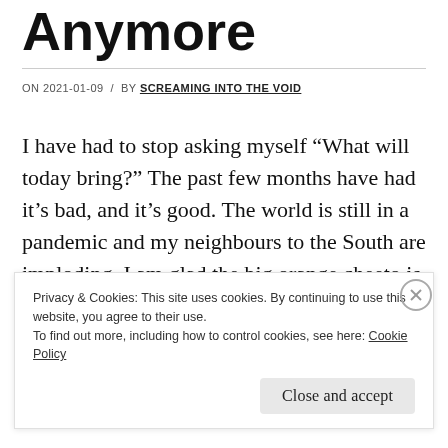Anymore
ON 2021-01-09 / BY SCREAMING INTO THE VOID
I have had to stop asking myself “What will today bring?” The past few months have had it’s bad, and it’s good. The world is still in a pandemic and my neighbours to the South are imploding. I am glad the big orange cheeto is on his way out the door, but
Privacy & Cookies: This site uses cookies. By continuing to use this website, you agree to their use.
To find out more, including how to control cookies, see here: Cookie Policy